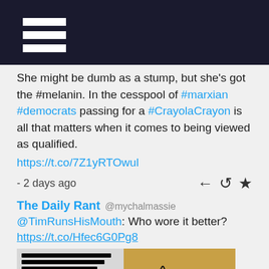[Figure (other): Dark navigation bar with hamburger menu icon (three white horizontal lines)]
She might be dumb as a stump, but she's got the #melanin. In the cesspool of #marxian #democrats passing for a #CrayolaCrayon is all that matters when it comes to being viewed as qualified. https://t.co/7Z1yRTOwul - 2 days ago
The Daily Rant @mychalmassie
@TimRunsHisMouth: Who wore it better?
https://t.co/Hfec6G0Pg8
[Figure (photo): Two side-by-side images: left shows a redacted document with black bars, right shows a zebra standing outdoors]